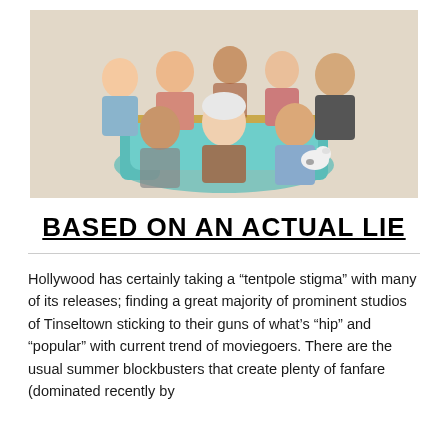[Figure (photo): Group photo of several Asian women of various ages seated and standing around a teal armchair, with a small white dog. Promotional image for a film.]
BASED ON AN ACTUAL LIE
Hollywood has certainly taking a “tentpole stigma” with many of its releases; finding a great majority of prominent studios of Tinseltown sticking to their guns of what’s “hip” and “popular” with current trend of moviegoers. There are the usual summer blockbusters that create plenty of fanfare (dominated recently by